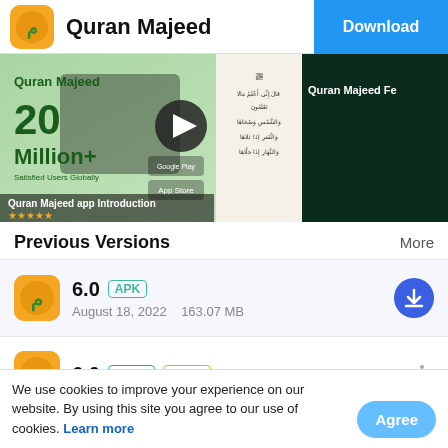Quran Majeed   Download
[Figure (screenshot): App video thumbnail showing Quran Majeed 20 Million+ Satisfied Users Globally introduction screen with play button, and a Quran text screenshot alongside a dark screen partially visible. Caption overlay: 'Quran Majeed app Introduction' with star rating. Second panel: 'Quran Majeed Fe...']
Previous Versions   More
[Figure (logo): Quran Majeed orange app icon with green Arabic text]
6.0   APK   August 18, 2022   163.07 MB
[Figure (logo): Quran Majeed orange app icon with green Arabic text]
6.0   XAPK   APKS
We use cookies to improve your experience on our website. By using this site you agree to our use of cookies. Learn more
6.0 beta5